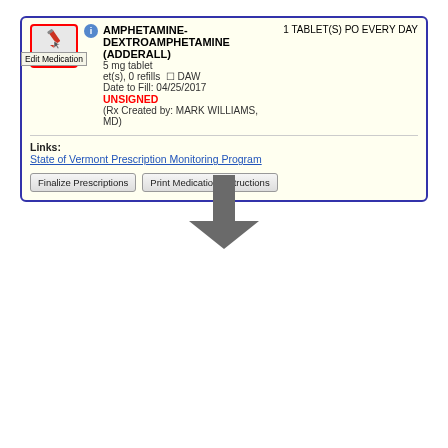[Figure (screenshot): EHR medication panel showing AMPHETAMINE-DEXTROAMPHETAMINE (ADDERALL) prescription with Edit Medication tooltip highlighted in red box. Shows 1 TABLET(S) PO EVERY DAY, 5 mg tablet, 0 refills, DAW, Date to Fill 04/25/2017, UNSIGNED, Rx Created by MARK WILLIAMS MD. Links section shows State of Vermont Prescription Monitoring Program. Buttons: Finalize Prescriptions, Print Medication Instructions.]
[Figure (infographic): Large downward-pointing gray arrow indicating a flow/transition between the two screenshots.]
[Figure (screenshot): EHR Edit Medication dialog showing: Indications field, Patient Problems & Diagnoses list (Abnormal gait, Asthma, Obesity, Streptococcal sore throat), Most Common Indications list (Attention-Deficit Hyperactivity Disorder, Narcolepsy Syndrome), Start Date 04/25/2017, Stop Date 06/06/2017, Use stop date checkbox, Delete button highlighted in red box, Cancel and Save buttons.]